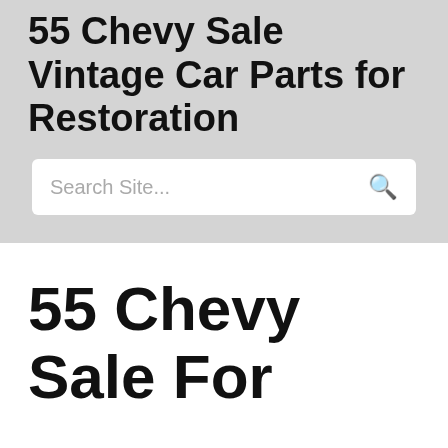55 Chevy Sale Vintage Car Parts for Restoration
Search Site...
55 Chevy Sale For